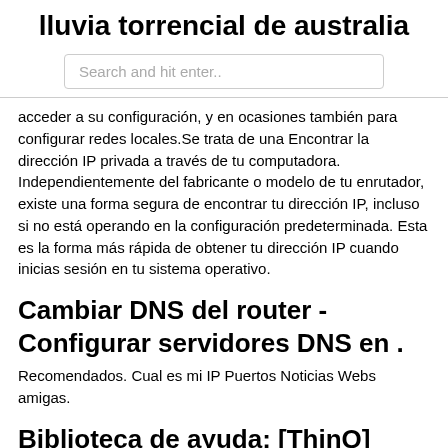lluvia torrencial de australia
Search and hit enter..
acceder a su configuración, y en ocasiones también para configurar redes locales.Se trata de una Encontrar la dirección IP privada a través de tu computadora. Independientemente del fabricante o modelo de tu enrutador, existe una forma segura de encontrar tu dirección IP, incluso si no está operando en la configuración predeterminada. Esta es la forma más rápida de obtener tu dirección IP cuando inicias sesión en tu sistema operativo.
Cambiar DNS del router - Configurar servidores DNS en .
Recomendados. Cual es mi IP Puertos Noticias Webs amigas.
Biblioteca de ayuda: [ThinQ] Cómo cambiar las . - LG
Search the world's information, including webpages, images,